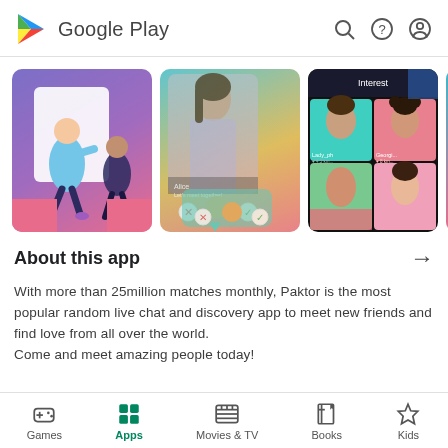Google Play
[Figure (screenshot): Three app screenshots showing a dating/social app (Paktor): first shows an illustrated scene with two people, second shows a Tinder-like card swiping interface with a woman's photo, third shows an interest/match grid with multiple profile photos.]
About this app
With more than 25million matches monthly, Paktor is the most popular random live chat and discovery app to meet new friends and find love from all over the world.
Come and meet amazing people today!
Games  Apps  Movies & TV  Books  Kids